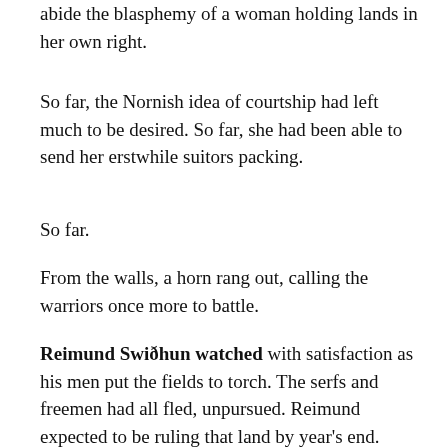abide the blasphemy of a woman holding lands in her own right.
So far, the Nornish idea of courtship had left much to be desired. So far, she had been able to send her erstwhile suitors packing.
So far.
From the walls, a horn rang out, calling the warriors once more to battle.
Reimund Swiðhun watched with satisfaction as his men put the fields to torch. The serfs and freemen had all fled, unpursued. Reimund expected to be ruling that land by year's end. He did have some other plans in the works.